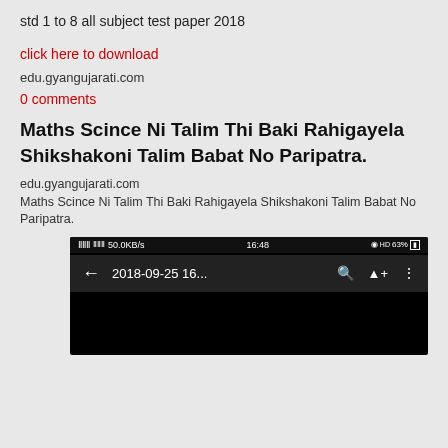std 1 to 8 all subject test paper 2018
click here to download
edu.gyangujarati.com
0 comments
Maths Scince Ni Talim Thi Baki Rahigayela Shikshakoni Talim Babat No Paripatra.
edu.gyangujarati.com
Maths Scince Ni Talim Thi Baki Rahigayela Shikshakoni Talim Babat No Paripatra.
[Figure (screenshot): Mobile screenshot showing status bar with 50.0KB/s, 16:48 time, 63% battery, and navigation bar with back arrow, title '2018-09-25 16...', search, drive, and menu icons on black background.]